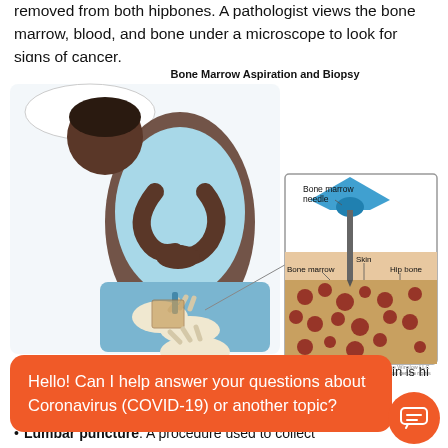removed from both hipbones. A pathologist views the bone marrow, blood, and bone under a microscope to look for signs of cancer.
[Figure (illustration): Medical illustration titled 'Bone Marrow Aspiration and Biopsy' showing a patient lying face-down while a gloved hand performs a procedure on the lower back/hip area. An inset diagram on the right labels the bone marrow needle, bone marrow, skin, and hip bone layers showing the needle inserted through skin into the hip bone.]
Hello! Can I help answer your questions about Coronavirus (COVID-19) or another topic?
Lumbar puncture: A procedure used to collect